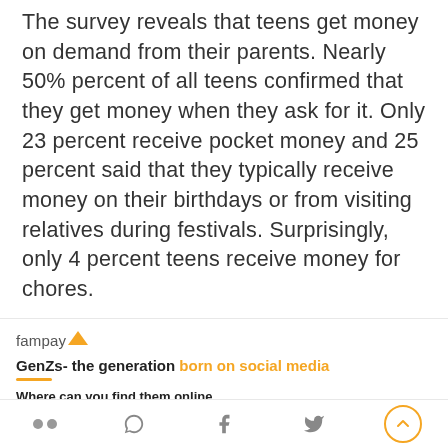The survey reveals that teens get money on demand from their parents. Nearly 50% percent of all teens confirmed that they get money when they ask for it. Only 23 percent receive pocket money and 25 percent said that they typically receive money on their birthdays or from visiting relatives during festivals. Surprisingly, only 4 percent teens receive money for chores.
[Figure (logo): fampay logo with yellow arrow/checkmark symbol]
GenZs- the generation born on social media
Where can you find them online
[Figure (infographic): Social media platform usage stats: Instagram 80% of teenagers actively use instagram!, Whatsapp 67%, Youtube 57%, Snapchat 25%, Twitter 11%]
Social share icons and scroll-to-top button